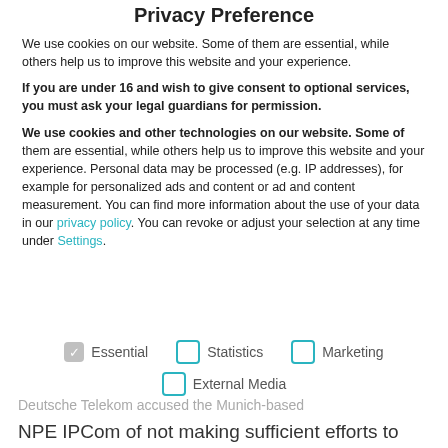Privacy Preference
We use cookies on our website. Some of them are essential, while others help us to improve this website and your experience.
If you are under 16 and wish to give consent to optional services, you must ask your legal guardians for permission.
We use cookies and other technologies on our website. Some of them are essential, while others help us to improve this website and your experience. Personal data may be processed (e.g. IP addresses), for example for personalized ads and content or ad and content measurement. You can find more information about the use of your data in our privacy policy. You can revoke or adjust your selection at any time under Settings.
Essential
Statistics
Marketing
External Media
Deutsche Telekom accused the Munich-based NPE IPCom of not making sufficient efforts to also license other network operators, arguing that the licence agreement did not comply with the